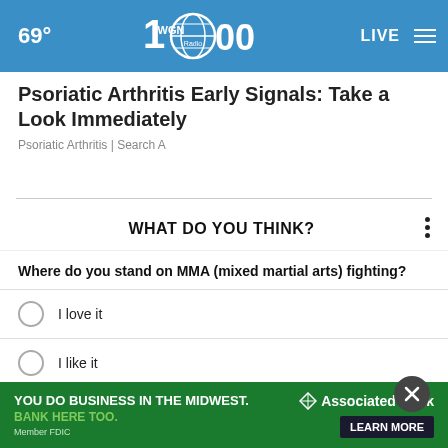69° WGN Radio 100 LIVE
Psoriatic Arthritis Early Signals: Take a Look Immediately
Psoriatic Arthritis | Search A
WHAT DO YOU THINK?
Where do you stand on MMA (mixed martial arts) fighting?
I love it
I like it
It's OK
I don't like it
[Figure (infographic): Associated Bank advertisement banner: 'YOU DO BUSINESS IN THE MIDWEST. BANK HERE TOO. Member FDIC' with LEARN MORE button]
(partially hidden option)
(partially hidden option)